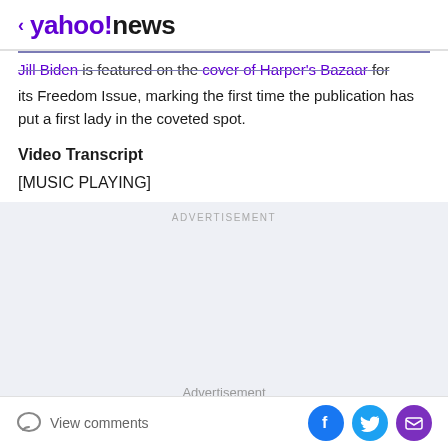< yahoo!news
Jill Biden is featured on the cover of Harper's Bazaar for its Freedom Issue, marking the first time the publication has put a first lady in the coveted spot.
Video Transcript
[MUSIC PLAYING]
ADVERTISEMENT
Advertisement
View comments